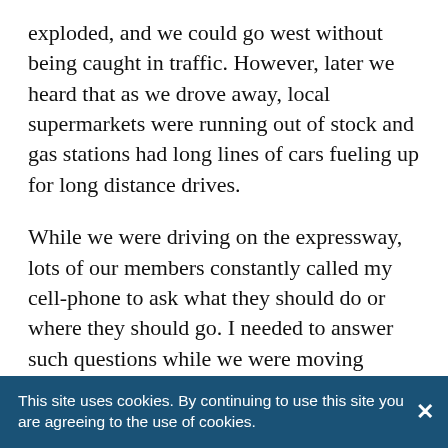exploded, and we could go west without being caught in traffic. However, later we heard that as we drove away, local supermarkets were running out of stock and gas stations had long lines of cars fueling up for long distance drives.
While we were driving on the expressway, lots of our members constantly called my cell-phone to ask what they should do or where they should go. I needed to answer such questions while we were moving westward. For those members who would be coming later, we had to keep driving to Kyushu. On the phone, I talked to many members. I recommended that they should move away from the radiation, and should evacuate at least tempo...
This site uses cookies. By continuing to use this site you are agreeing to the use of cookies.